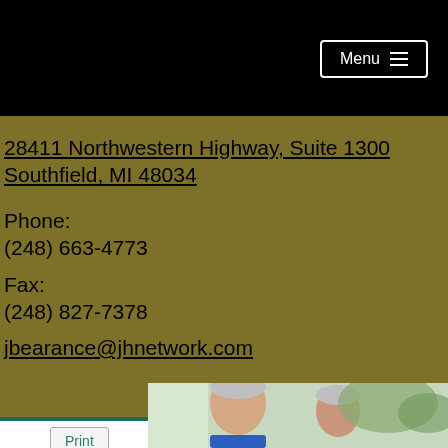Menu
28411 Northwestern Highway, Suite 1300
Southfield, MI 48034
Phone:
(248) 663-4773
Fax:
(248) 827-7378
jbearance@jhnetwork.com
Print
[Figure (photo): Photo of an elderly Asian couple smiling together indoors]